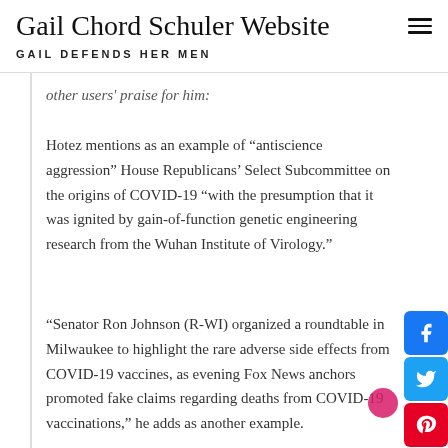Gail Chord Schuler Website
GAIL DEFENDS HER MEN
other users' praise for him:
Hotez mentions as an example of “antiscience aggression” House Republicans’ Select Subcommittee on the origins of COVID-19 “with the presumption that it was ignited by gain-of-function genetic engineering research from the Wuhan Institute of Virology.”
“Senator Ron Johnson (R-WI) organized a roundtable in Milwaukee to highlight the rare adverse side effects from COVID-19 vaccines, as evening Fox News anchors promoted fake claims regarding deaths from COVID-19 vaccinations,” he adds as another example.